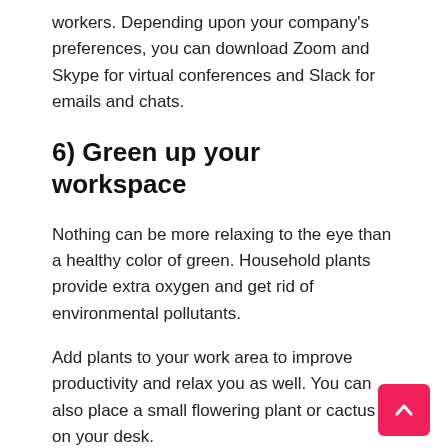workers. Depending upon your company's preferences, you can download Zoom and Skype for virtual conferences and Slack for emails and chats.
6) Green up your workspace
Nothing can be more relaxing to the eye than a healthy color of green. Household plants provide extra oxygen and get rid of environmental pollutants.
Add plants to your work area to improve productivity and relax you as well. You can also place a small flowering plant or cactus on your desk.
7) Listen (or not) to music
Some people say they concentrate better if they listen to music. Others find it distracting.